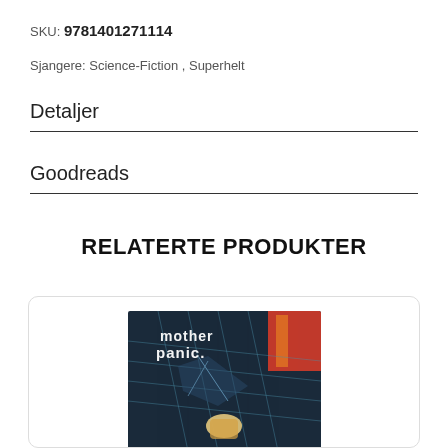SKU: 9781401271114
Sjangere: Science-Fiction , Superhelt
Detaljer
Goodreads
RELATERTE PRODUKTER
[Figure (photo): Book cover for 'mother panic.' showing a comic book style illustration with blue geometric lines, a figure, and red/orange colors in the background. White text reads 'mother panic.' in the upper portion.]